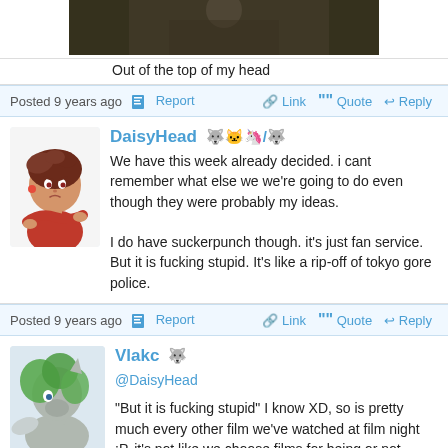[Figure (photo): Partial image at top of page showing a dark fantasy/game scene]
Out of the top of my head
Posted 9 years ago  Report  Link  Quote  Reply
[Figure (illustration): DaisyHead avatar - anime-style girl with brown hair in red outfit, arms crossed]
DaisyHead [emoji icons]
We have this week already decided. i cant remember what else we we're going to do even though they were probably my ideas.

I do have suckerpunch though. it's just fan service. But it is fucking stupid. It's like a rip-off of tokyo gore police.
Posted 9 years ago  Report  Link  Quote  Reply
[Figure (illustration): Vlakc avatar - pony/MLP style character in grey and green]
Vlakc [emoji icon]
@DaisyHead
"But it is fucking stupid" I know XD, so is pretty much every other film we've watched at film night :P, it's not like we choose films for being or not stupid.